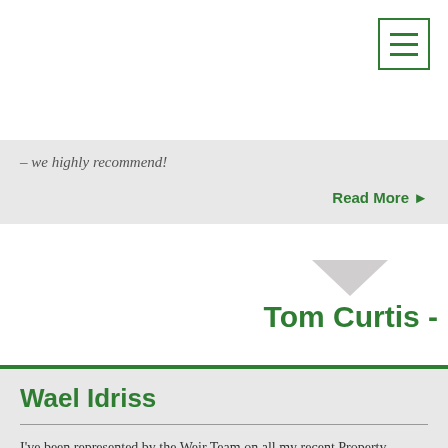[Figure (other): Hamburger menu icon — three horizontal green lines inside a green-bordered square]
– we highly recommend!
Read More ©
Tom Curtis -
Wael Idriss
I've been represented by the Weir Team on all my recent Property purchases and sales over the years. I can confidently say that they are consistently ahead of the game. Scott Hanton makes it a point to understand his clients' needs and always comes through. The Weir Team continues to grow in size and reputation. [...]